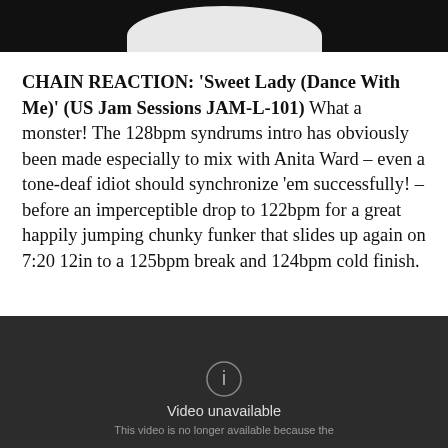[Figure (photo): Top portion of an image showing a white curved shape (possibly a record or disc) against a dark/black background]
CHAIN REACTION: 'Sweet Lady (Dance With Me)' (US Jam Sessions JAM-L-101) What a monster! The 128bpm syndrums intro has obviously been made especially to mix with Anita Ward – even a tone-deaf idiot should synchronize 'em successfully! – before an imperceptible drop to 122bpm for a great happily jumping chunky funker that slides up again on 7:20 12in to a 125bpm break and 124bpm cold finish.
[Figure (screenshot): Dark video player showing 'Video unavailable' message with text 'This video is no longer available because the']